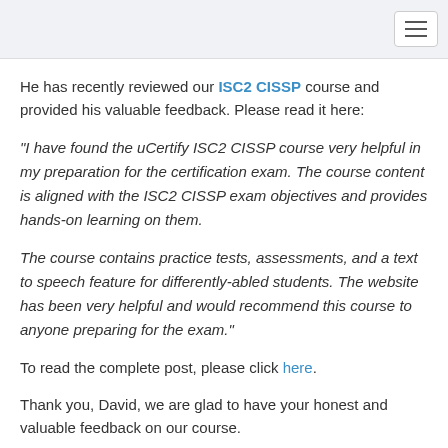He has recently reviewed our ISC2 CISSP course and provided his valuable feedback. Please read it here:
“I have found the uCertify ISC2 CISSP course very helpful in my preparation for the certification exam. The course content is aligned with the ISC2 CISSP exam objectives and provides hands-on learning on them.
The course contains practice tests, assessments, and a text to speech feature for differently-abled students. The website has been very helpful and would recommend this course to anyone preparing for the exam.”
To read the complete post, please click here.
Thank you, David, we are glad to have your honest and valuable feedback on our course.
To know more about David Jensen, contact via his LinkedIn profile
Posted in Book Review, CISSP, Course, Customer Review,